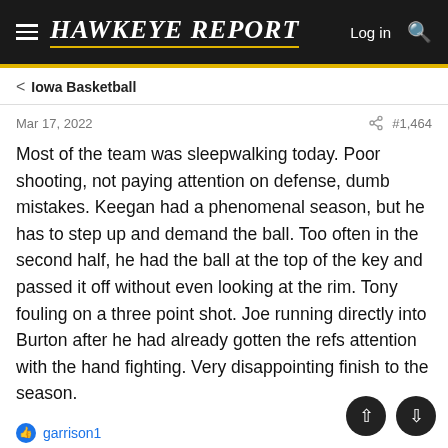HAWKEYE REPORT — Log in
Iowa Basketball
Mar 17, 2022   #1,464
Most of the team was sleepwalking today. Poor shooting, not paying attention on defense, dumb mistakes. Keegan had a phenomenal season, but he has to step up and demand the ball. Too often in the second half, he had the ball at the top of the key and passed it off without even looking at the rim. Tony fouling on a three point shot. Joe running directly into Burton after he had already gotten the refs attention with the hand fighting. Very disappointing finish to the season.
garrison1